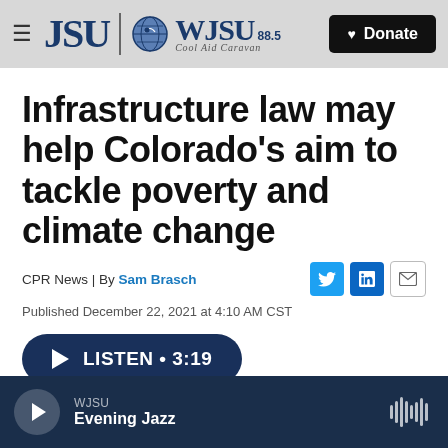JSU | WJSU 88.5 Cool Aid Caravan — Donate
Infrastructure law may help Colorado's aim to tackle poverty and climate change
CPR News | By Sam Brasch
Published December 22, 2021 at 4:10 AM CST
LISTEN • 3:19
WJSU Evening Jazz